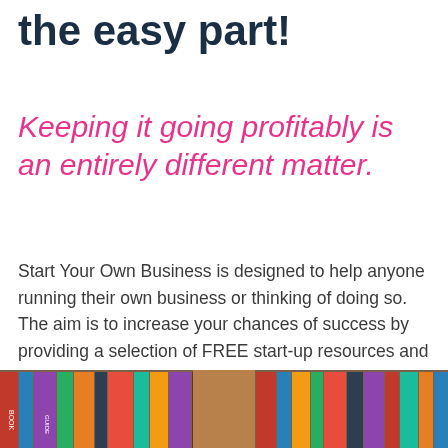the easy part!
Keeping it going profitably is an entirely different matter.
Start Your Own Business is designed to help anyone running their own business or thinking of doing so. The aim is to increase your chances of success by providing a selection of FREE start-up resources and to highlight the support that is available in each area.
[Figure (photo): Bottom section showing a row of books on shelves, photo cropped at the bottom of the page]